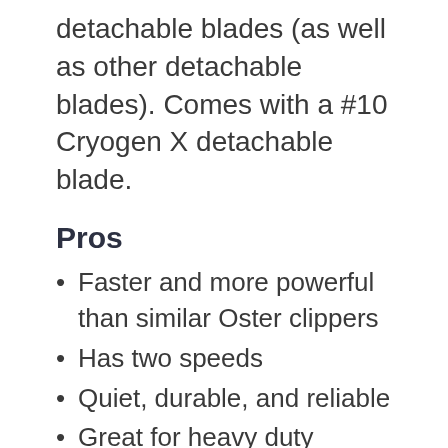detachable blades (as well as other detachable blades). Comes with a #10 Cryogen X detachable blade.
Pros
Faster and more powerful than similar Oster clippers
Has two speeds
Quiet, durable, and reliable
Great for heavy duty clipping, including cutting mats
Cons